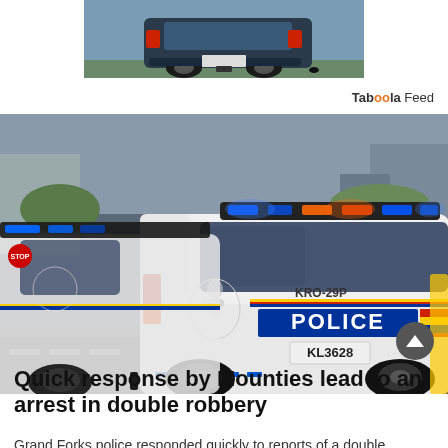[Figure (photo): Advertisement showing a dark blue SUV/truck from the rear angle on a road, partially visible]
Taboola Feed
[Figure (photo): Two white RCMP police SUVs (Ford Explorer) with flashing blue and red/amber emergency lights. The rear vehicle shows license plate KL3628 and unit number KRO-29P, with POLICE markings and RCMP logo.]
Quick response by Mounties lead to an arrest in double robbery
Grand Forks police responded quickly to reports of a double...